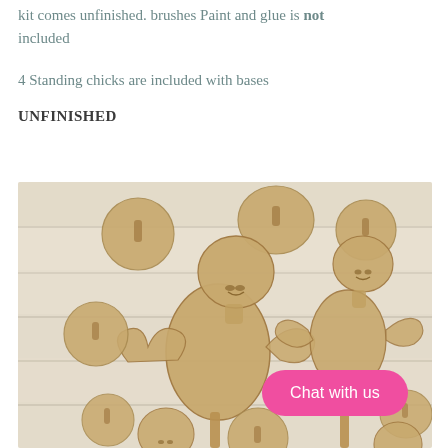kit comes unfinished. brushes Paint and glue is not included
4 Standing chicks are included with bases
UNFINISHED
[Figure (photo): Unfinished wooden MDF standing chick craft kit pieces laid out on a white wood plank surface, showing body parts, circular disc bases with slots, head, wings, and beak pieces for multiple chick figures]
Chat with us